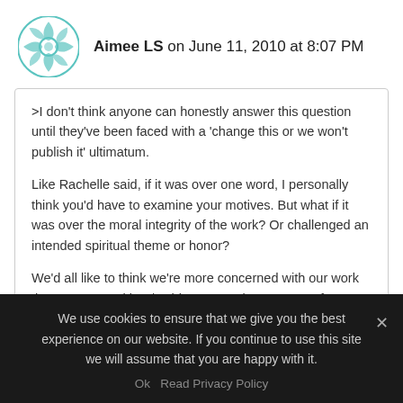Aimee LS on June 11, 2010 at 8:07 PM
>I don't think anyone can honestly answer this question until they've been faced with a 'change this or we won't publish it' ultimatum.

Like Rachelle said, if it was over one word, I personally think you'd have to examine your motives. But what if it was over the moral integrity of the work? Or challenged an intended spiritual theme or honor?

We'd all like to think we're more concerned with our work than our recognition / achievement...but I suspect few
We use cookies to ensure that we give you the best experience on our website. If you continue to use this site we will assume that you are happy with it.
Ok  Read Privacy Policy